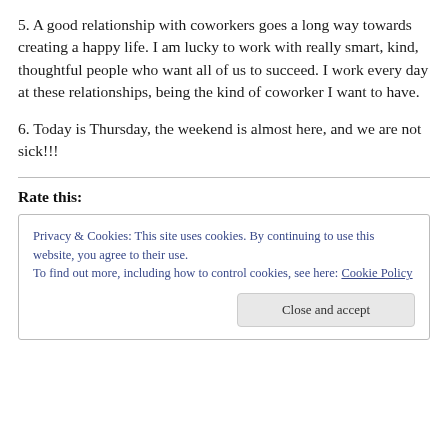5. A good relationship with coworkers goes a long way towards creating a happy life. I am lucky to work with really smart, kind, thoughtful people who want all of us to succeed. I work every day at these relationships, being the kind of coworker I want to have.
6. Today is Thursday, the weekend is almost here, and we are not sick!!!
Rate this:
Privacy & Cookies: This site uses cookies. By continuing to use this website, you agree to their use.
To find out more, including how to control cookies, see here: Cookie Policy